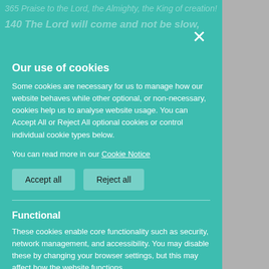Our use of cookies
Some cookies are necessary for us to manage how our website behaves while other optional, or non-necessary, cookies help us to analyse website usage. You can Accept All or Reject All optional cookies or control individual cookie types below.
You can read more in our Cookie Notice
Accept all | Reject all
Functional
These cookies enable core functionality such as security, network management, and accessibility. You may disable these by changing your browser settings, but this may affect how the website functions.
Analytics cookies
Analytical cookies help us to improve our website by collecting and reporting information on its usage.